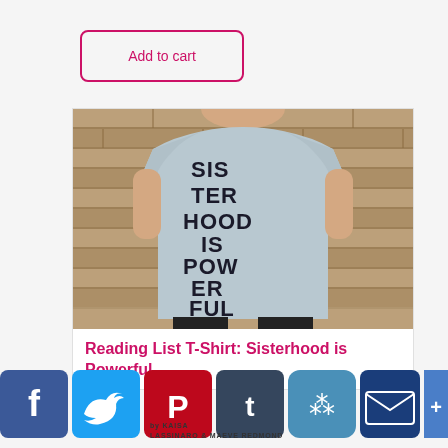Add to cart
[Figure (photo): Person wearing a light grey t-shirt with 'SISTERHOOD IS POWERFUL' printed on it in large block letters, standing against a stone brick wall]
Reading List T-Shirt: Sisterhood is Powerful
[Figure (infographic): Social media share buttons: Facebook, Twitter, Pinterest, Tumblr, Copy Link, Email, More]
by KAISA LASSINARO & MAEVE REDMOND